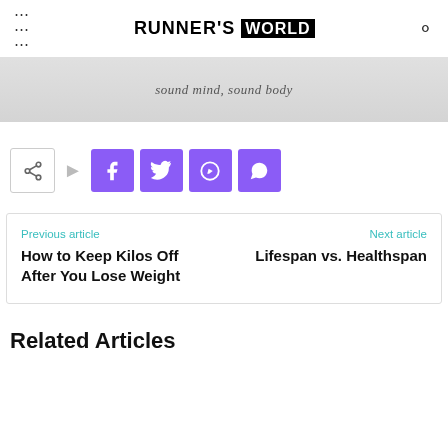RUNNER'S WORLD
[Figure (photo): Advertisement banner with text 'sound mind, sound body' on a light grey background]
[Figure (infographic): Share bar with share icon button and four purple social media buttons: Facebook, Twitter, Pinterest, WhatsApp]
Previous article
How to Keep Kilos Off After You Lose Weight
Next article
Lifespan vs. Healthspan
Related Articles